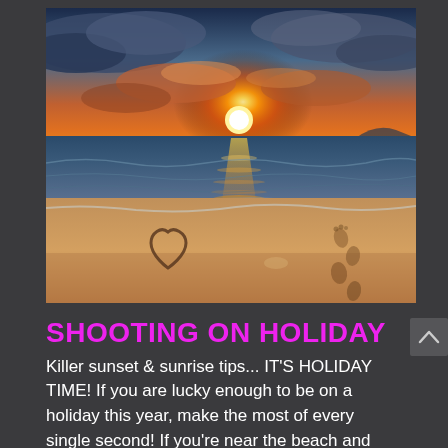[Figure (photo): Beach sunset photo showing warm orange and red sky with sun on the horizon, ocean waves, sandy beach in the foreground with a heart drawn in the sand and footprints visible on the right side.]
SHOOTING ON HOLIDAY
Killer sunset & sunrise tips... IT'S HOLIDAY TIME! If you are lucky enough to be on a holiday this year, make the most of every single second! If you're near the beach and looking to shoot some